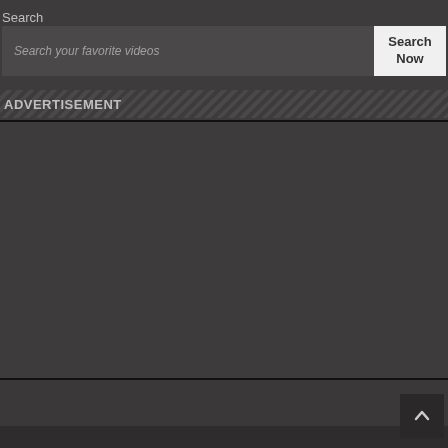Search
Search your favorite videos
Search Now
ADVERTISEMENT